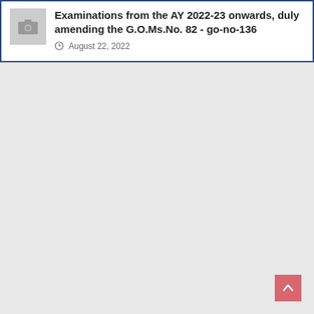[Figure (screenshot): A card/article entry with a thumbnail placeholder image (camera icon), bold title text about examinations from AY 2022-23, and a date of August 22, 2022. Card has a dark blue border.]
Examinations from the AY 2022-23 onwards, duly amending the G.O.Ms.No. 82 - go-no-136
August 22, 2022